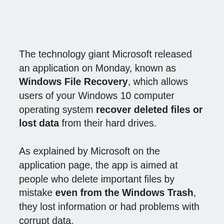The technology giant Microsoft released an application on Monday, known as Windows File Recovery, which allows users of your Windows 10 computer operating system recover deleted files or lost data from their hard drives.
As explained by Microsoft on the application page, the app is aimed at people who delete important files by mistake even from the Windows Trash, they lost information or had problems with corrupt data.